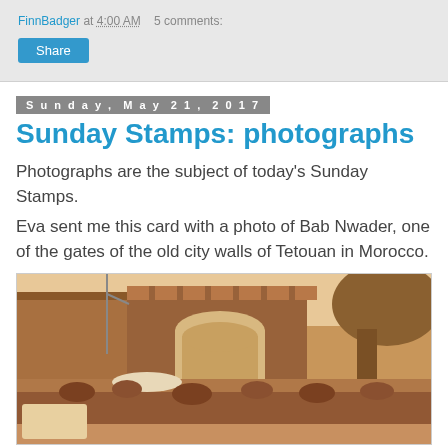FinnBadger at 4:00 AM   5 comments:
Share
Sunday, May 21, 2017
Sunday Stamps: photographs
Photographs are the subject of today's Sunday Stamps.
Eva sent me this card with a photo of Bab Nwader, one of the gates of the old city walls of Tetouan in Morocco.
[Figure (photo): Sepia-toned postcard photograph of Bab Nwader, one of the gates of the old city walls of Tetouan in Morocco. Shows a crowd of people in a street scene with the gate arch and battlements visible in the background, trees to the right, and an umbrella visible in the crowd.]